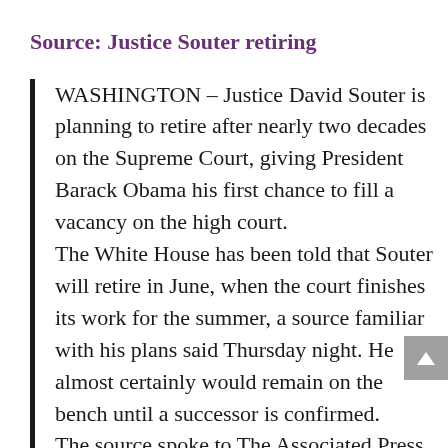Source: Justice Souter retiring
WASHINGTON – Justice David Souter is planning to retire after nearly two decades on the Supreme Court, giving President Barack Obama his first chance to fill a vacancy on the high court. The White House has been told that Souter will retire in June, when the court finishes its work for the summer, a source familiar with his plans said Thursday night. He almost certainly would remain on the bench until a successor is confirmed. The source spoke to The Associated Press on condition of anonymity